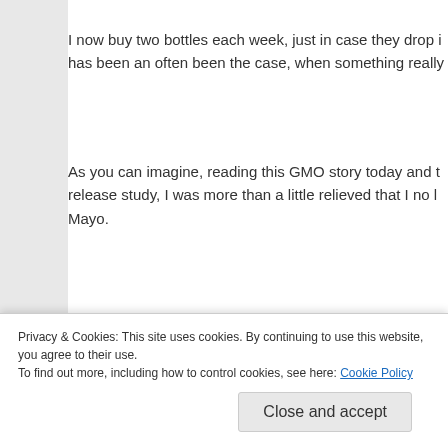I now buy two bottles each week, just in case they drop i has been an often been the case, when something really
As you can imagine, reading this GMO story today and t release study, I was more than a little relieved that I no l Mayo.
Several other stories were in this same email, about the to eliminate the already widely approved requirements fo all foods.
Am I the only one who is convinced that the FDA and mo Government wants to force these toxic foods down our t
Privacy & Cookies: This site uses cookies. By continuing to use this website, you agree to their use.
To find out more, including how to control cookies, see here: Cookie Policy
Close and accept